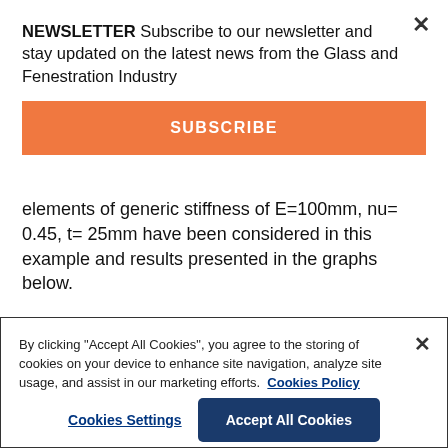NEWSLETTER Subscribe to our newsletter and stay updated on the latest news from the Glass and Fenestration Industry
SUBSCRIBE
elements of generic stiffness of E=100mm, nu= 0.45, t= 25mm have been considered in this example and results presented in the graphs below.
In addition, three conditions were studied where
By clicking "Accept All Cookies", you agree to the storing of cookies on your device to enhance site navigation, analyze site usage, and assist in our marketing efforts.  Cookies Policy
Cookies Settings
Accept All Cookies